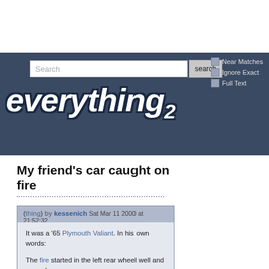everything2 — Search interface with Near Matches, Ignore Exact, Full Text options
My friend's car caught on fire
(thing) by kessenich  Sat Mar 11 2000 at 21:52:32
It was a '65 Plymouth Valiant. In his own words:
The fire started in the left rear wheel well and spread